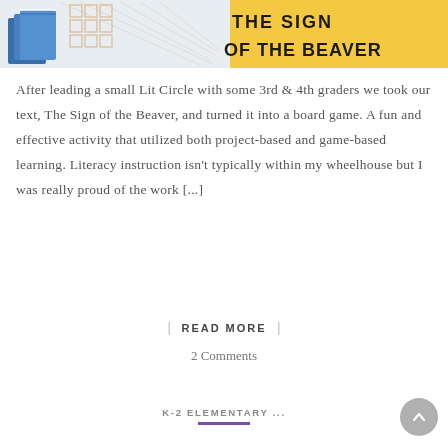[Figure (illustration): Banner image for 'The Sign of the Beaver' showing books and a crossword-style graphic with yellow background and bold black text reading 'THE SIGN OF THE BEAVER']
After leading a small Lit Circle with some 3rd & 4th graders we took our text, The Sign of the Beaver, and turned it into a board game. A fun and effective activity that utilized both project-based and game-based learning. Literacy instruction isn't typically within my wheelhouse but I was really proud of the work [...]
| READ MORE |
2 Comments
K-2 ELEMENTARY ...